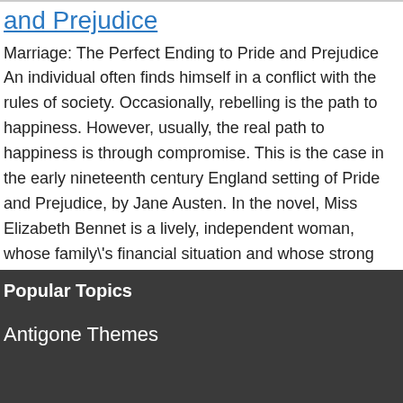and Prejudice
Marriage: The Perfect Ending to Pride and Prejudice An individual often finds himself in a conflict with the rules of society. Occasionally, rebelling is the path to happiness. However, usually, the real path to happiness is through compromise. This is the case in the early nineteenth century England setting of Pride and Prejudice, by Jane Austen. In the novel, Miss Elizabeth Bennet is a lively, independent woman, whose family's financial situation and whose strong mindedness suggest that she m...
Words: 1832, Pages: 8
Popular Topics
Antigone Themes